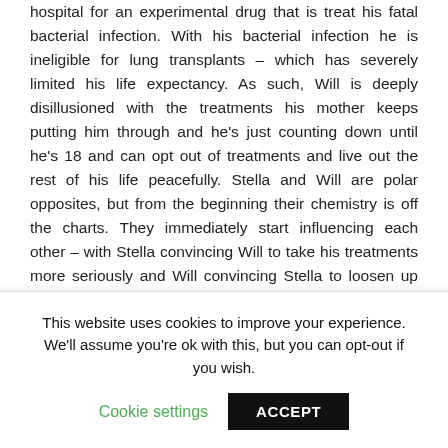hospital for an experimental drug that is treat his fatal bacterial infection. With his bacterial infection he is ineligible for lung transplants – which has severely limited his life expectancy. As such, Will is deeply disillusioned with the treatments his mother keeps putting him through and he's just counting down until he's 18 and can opt out of treatments and live out the rest of his life peacefully. Stella and Will are polar opposites, but from the beginning their chemistry is off the charts. They immediately start influencing each other – with Stella convincing Will to take his treatments more seriously and Will convincing Stella to loosen up and live a little.

My only issue with this book was the degree to which Stella changed by the end. While I appreciate character growth – she
This website uses cookies to improve your experience. We'll assume you're ok with this, but you can opt-out if you wish.
Cookie settings    ACCEPT